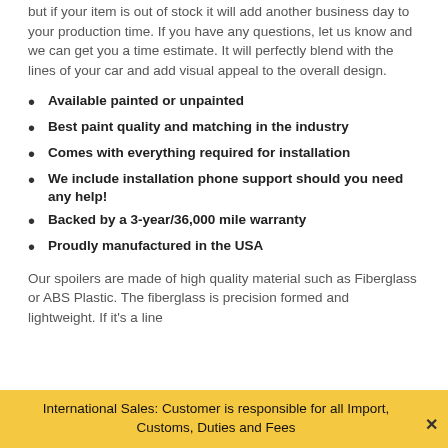but if your item is out of stock it will add another business day to your production time. If you have any questions, let us know and we can get you a time estimate. It will perfectly blend with the lines of your car and add visual appeal to the overall design.
Available painted or unpainted
Best paint quality and matching in the industry
Comes with everything required for installation
We include installation phone support should you need any help!
Backed by a 3-year/36,000 mile warranty
Proudly manufactured in the USA
Our spoilers are made of high quality material such as Fiberglass or ABS Plastic. The fiberglass is precision formed and lightweight. If it's a line
International Sales: Customer is responsible for all Import, Customs, Duties and Fees